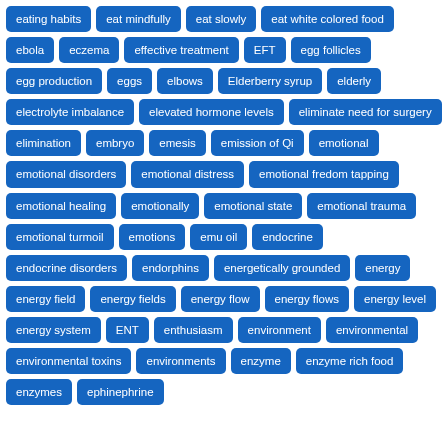[Figure (infographic): Tag cloud of health and medical terms displayed as blue pill-shaped tags on white background. Tags include: eating habits, eat mindfully, eat slowly, eat white colored food, ebola, eczema, effective treatment, EFT, egg follicles, egg production, eggs, elbows, Elderberry syrup, elderly, electrolyte imbalance, elevated hormone levels, eliminate need for surgery, elimination, embryo, emesis, emission of Qi, emotional, emotional disorders, emotional distress, emotional fredom tapping, emotional healing, emotionally, emotional state, emotional trauma, emotional turmoil, emotions, emu oil, endocrine, endocrine disorders, endorphins, energetically grounded, energy, energy field, energy fields, energy flow, energy flows, energy level, energy system, ENT, enthusiasm, environment, environmental, environmental toxins, environments, enzyme, enzyme rich food, enzymes, ephinephrine]